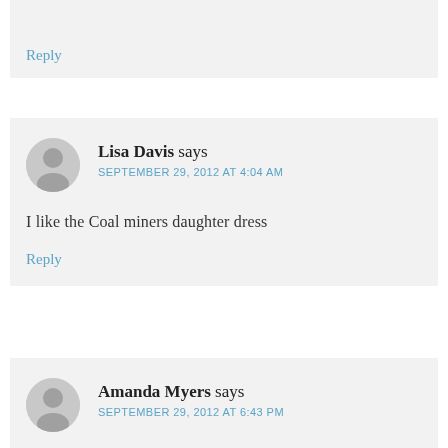Reply
Lisa Davis says
SEPTEMBER 29, 2012 AT 4:04 AM
I like the Coal miners daughter dress
Reply
Amanda Myers says
SEPTEMBER 29, 2012 AT 6:43 PM
Love the ruffle cascade dress